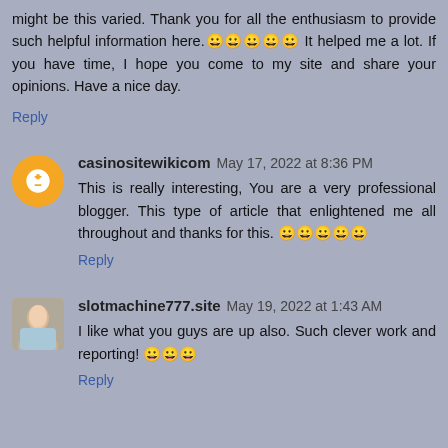might be this varied. Thank you for all the enthusiasm to provide such helpful information here.😀😀😀😀😀 It helped me a lot. If you have time, I hope you come to my site and share your opinions. Have a nice day.
Reply
casinositewikicom May 17, 2022 at 8:36 PM
This is really interesting, You are a very professional blogger. This type of article that enlightened me all throughout and thanks for this. 😀😀😀😀😀
Reply
slotmachine777.site May 19, 2022 at 1:43 AM
I like what you guys are up also. Such clever work and reporting! 😀😀😀
Reply